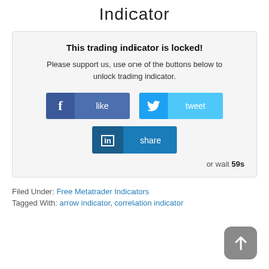Indicator
This trading indicator is locked!
Please support us, use one of the buttons below to unlock trading indicator.
[Figure (screenshot): Social sharing buttons: Facebook like, Twitter tweet, LinkedIn share]
or wait 59s
Filed Under: Free Metatrader Indicators
Tagged With: arrow indicator, correlation indicator